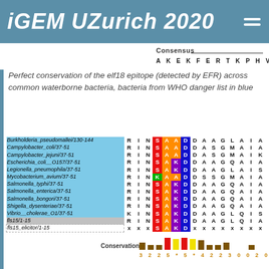iGEM UZurich 2020
[Figure (other): Multiple sequence alignment showing conservation of the elf18 epitope across common waterborne bacteria. Rows are bacterial species with sequence positions. Highlighted residues: S (red), A (orange/yellow), K (green/blue), D (purple/blue). Consensus sequence: A K E K F E R T K P H V N V G T I G. Conservation bar chart at bottom with values: 3 2 2 5 * 5 * 4 2 2 3 0 0 2 0.]
Perfect conservation of the elf18 epitope (detected by EFR) across common waterborne bacteria, bacteria from WHO danger list in blue